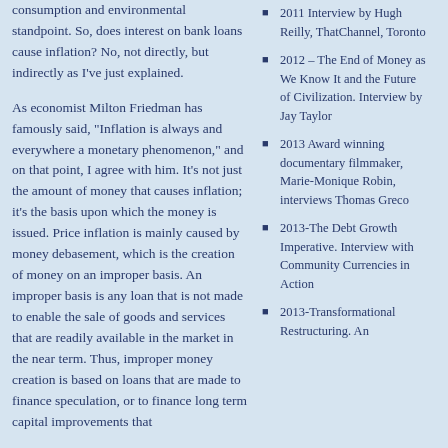consumption and environmental standpoint. So, does interest on bank loans cause inflation? No, not directly, but indirectly as I’ve just explained.
As economist Milton Friedman has famously said, “Inflation is always and everywhere a monetary phenomenon,” and on that point, I agree with him. It’s not just the amount of money that causes inflation; it’s the basis upon which the money is issued. Price inflation is mainly caused by money debasement, which is the creation of money on an improper basis. An improper basis is any loan that is not made to enable the sale of goods and services that are readily available in the market in the near term. Thus, improper money creation is based on loans that are made to finance speculation, or to finance long term capital improvements that
2011 Interview by Hugh Reilly, ThatChannel, Toronto
2012 – The End of Money as We Know It and the Future of Civilization. Interview by Jay Taylor
2013 Award winning documentary filmmaker, Marie-Monique Robin, interviews Thomas Greco
2013-The Debt Growth Imperative. Interview with Community Currencies in Action
2013-Transformational Restructuring. An